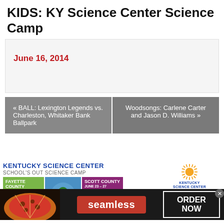KIDS: KY Science Center Science Camp
June 16, 2014
« BALL: Lexington Legends vs. Charleston, Whitaker Bank Ballpark
Woodsongs: Carlene Carter and Jason D. Williams »
[Figure (screenshot): Kentucky Science Center School's Out Science Camp advertisement with Fayette County and Scott County details, infolinks label]
[Figure (screenshot): Seamless food ordering advertisement with pizza image, seamless logo, and ORDER NOW button with close X]